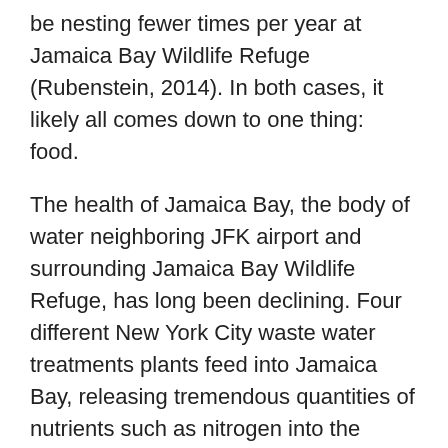be nesting fewer times per year at Jamaica Bay Wildlife Refuge (Rubenstein, 2014). In both cases, it likely all comes down to one thing: food.
The health of Jamaica Bay, the body of water neighboring JFK airport and surrounding Jamaica Bay Wildlife Refuge, has long been declining. Four different New York City waste water treatments plants feed into Jamaica Bay, releasing tremendous quantities of nutrients such as nitrogen into the water (Benotti et al., 2007). Excess nutrients in the water have caused algae to proliferate, preventing other vegetation from getting the light and nutrients they need. Due to this nutrient pollution, as well as sea level rise, Jamaica Bay's